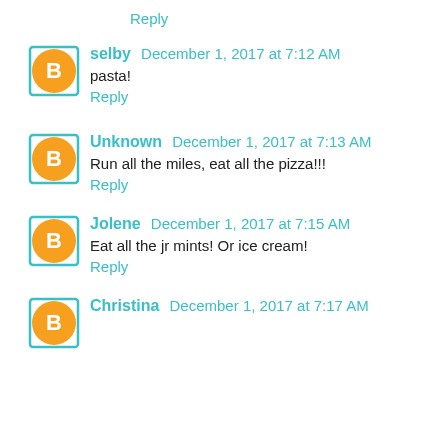Reply
selby  December 1, 2017 at 7:12 AM
pasta!
Reply
Unknown  December 1, 2017 at 7:13 AM
Run all the miles, eat all the pizza!!!
Reply
Jolene  December 1, 2017 at 7:15 AM
Eat all the jr mints! Or ice cream!
Reply
Christina  December 1, 2017 at 7:17 AM